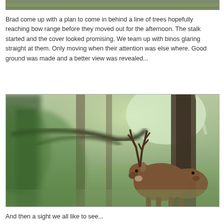[Figure (photo): Partial top edge of an outdoor nature photo, showing green foliage and trees]
Brad come up with a plan to come in behind a line of trees hopefully reaching bow range before they moved out for the afternoon. The stalk started and the cover looked promising. We team up with binos glaring straight at them. Only moving when their attention was else where. Good ground was made and a better view was revealed...
[Figure (photo): A red deer stag with antlers standing in a green grassy field, viewed through trees and blurred foliage in the foreground. Another deer is partially visible beside it.]
And then a sight we all like to see...